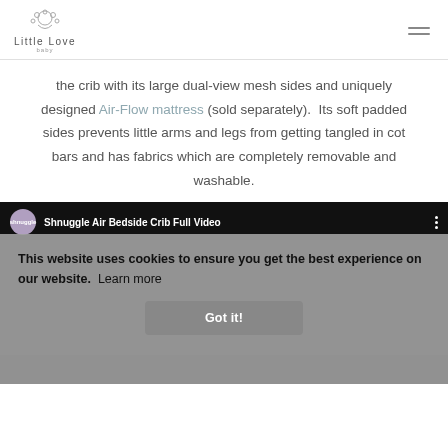Little Love Baby
the crib with its large dual-view mesh sides and uniquely designed Air-Flow mattress (sold separately).  Its soft padded sides prevents little arms and legs from getting tangled in cot bars and has fabrics which are completely removable and washable.
[Figure (screenshot): YouTube video thumbnail showing 'Shnuggle Air Bedside Crib Full Video' with shnuggle channel avatar, video title text, and three-dot menu icon on dark background]
This website uses cookies to ensure you get the best experience on our website.  Learn more
Got it!